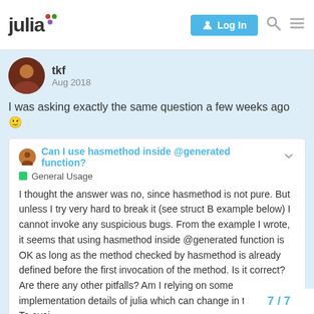julia | Log In
tkf   Aug 2018
I was asking exactly the same question a few weeks ago 🙂
Can I use hasmethod inside @generated function?
General Usage
I thought the answer was no, since hasmethod is not pure. But unless I try very hard to break it (see struct B example below) I cannot invoke any suspicious bugs. From the example I wrote, it seems that using hasmethod inside @generated function is OK as long as the method checked by hasmethod is already defined before the first invocation of the method. Is it correct? Are there any other pitfalls? Am I relying on some implementation details of julia which can change in the future? To avoi...
7 / 7